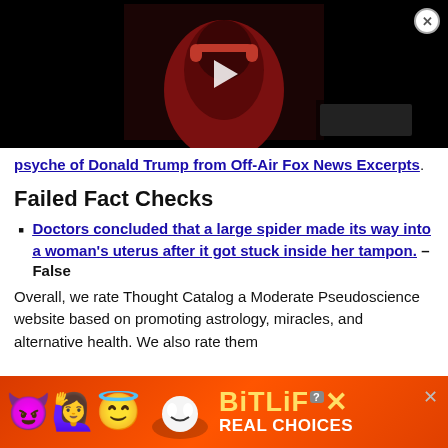[Figure (screenshot): Video thumbnail showing person wearing red headphones, dark background, with play button overlay. Close button in top right corner.]
psyche of Donald Trump from Off-Air Fox News Excerpts.
Failed Fact Checks
Doctors concluded that a large spider made its way into a woman's uterus after it got stuck inside her tampon. – False
Overall, we rate Thought Catalog a Moderate Pseudoscience website based on promoting astrology, miracles, and alternative health. We also rate them
[Figure (screenshot): BitLife advertisement banner with devil and angel emojis, red/orange background, BitLife logo in yellow, REAL CHOICES text in white.]